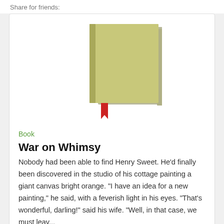Share for friends:
[Figure (illustration): Olive/khaki colored book with a red bookmark ribbon hanging from the bottom, viewed from a slightly angled front perspective]
Book
War on Whimsy
Nobody had been able to find Henry Sweet. He'd finally been discovered in the studio of his cottage painting a giant canvas bright orange. "I have an idea for a new painting," he said, with a feverish light in his eyes. "That's wonderful, darling!" said his wife. "Well, in that case, we must leav...
[Figure (illustration): Partial view of another book at the bottom of the page, olive/khaki colored with a red bookmark, viewed from the side/spine angle]